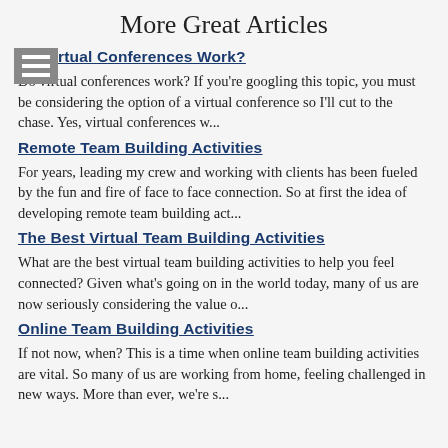More Great Articles
Do Virtual Conferences Work?
Do virtual conferences work? If you're googling this topic, you must be considering the option of a virtual conference so I'll cut to the chase. Yes, virtual conferences w...
Remote Team Building Activities
For years, leading my crew and working with clients has been fueled by the fun and fire of face to face connection. So at first the idea of developing remote team building act...
The Best Virtual Team Building Activities
What are the best virtual team building activities to help you feel connected? Given what's going on in the world today, many of us are now seriously considering the value o...
Online Team Building Activities
If not now, when? This is a time when online team building activities are vital. So many of us are working from home, feeling challenged in new ways. More than ever, we're s...